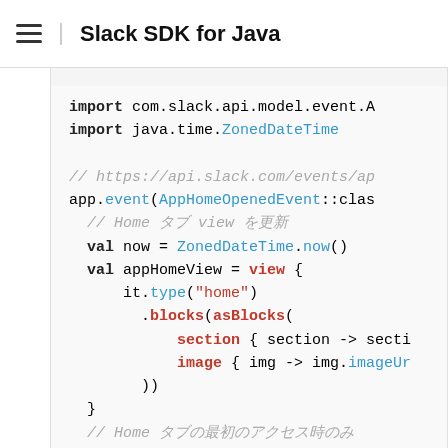Slack SDK for Java
import com.slack.api.model.event.A
import java.time.ZonedDateTime

// https://api.slack.com/events/ap
app.event(AppHomeOpenedEvent::clas
  // Home タブ view を更新
  val now = ZonedDateTime.now()
  val appHomeView = view {
      it.type("home")
        .blocks(asBlocks(
            section { section -> secti
            image { img -> img.imageUr
        ))
  }
  // Home タブの最初のアクセス時のみ